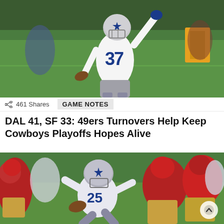[Figure (photo): Dallas Cowboys player #37 in white uniform celebrating on a green football field, raising one hand, with other players in the background]
461 Shares
GAME NOTES
DAL 41, SF 33: 49ers Turnovers Help Keep Cowboys Playoffs Hopes Alive
[Figure (photo): Dallas Cowboys running back in white uniform carrying the ball while being tackled by San Francisco 49ers players in red and gold uniforms]